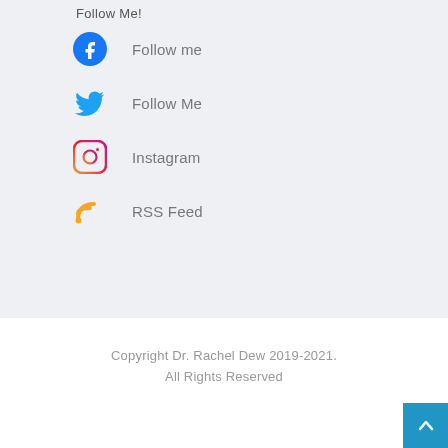Follow Me!
Follow me
Follow Me
Instagram
RSS Feed
Copyright Dr. Rachel Dew 2019-2021. All Rights Reserved